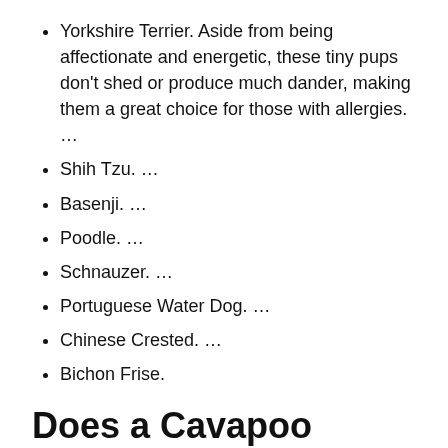Yorkshire Terrier. Aside from being affectionate and energetic, these tiny pups don't shed or produce much dander, making them a great choice for those with allergies. …
Shih Tzu. …
Basenji. …
Poodle. …
Schnauzer. …
Portuguese Water Dog. …
Chinese Crested. …
Bichon Frise.
Does a Cavapoo shed?
A Cavapoo is not likely to shed because it is half Poodle, but there is a chance that it may